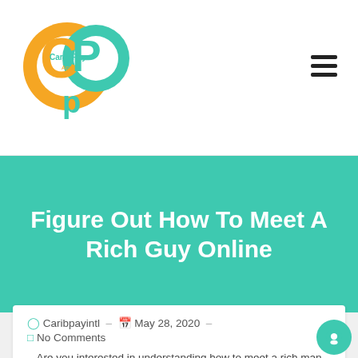[Figure (logo): CaribPay App logo — orange and teal overlapping circular shapes with 'Carib Pay App' text and 'cp' letters]
Figure Out How To Meet A Rich Guy Online
☉ Caribpayintl  –  📅 May 28, 2020  –
💬 No Comments
Are you interested in understanding how to meet a rich man online? Very well, there are many